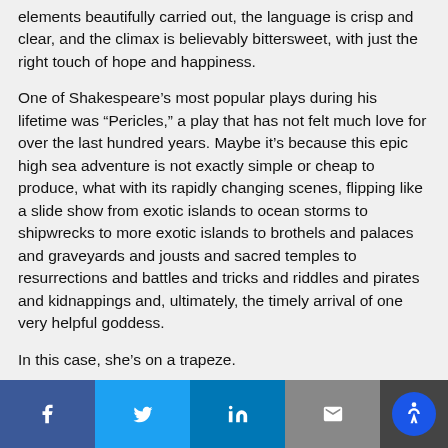elements beautifully carried out, the language is crisp and clear, and the climax is believably bittersweet, with just the right touch of hope and happiness.
One of Shakespeare's most popular plays during his lifetime was “Pericles,” a play that has not felt much love for over the last hundred years. Maybe it’s because this epic high sea adventure is not exactly simple or cheap to produce, what with its rapidly changing scenes, flipping like a slide show from exotic islands to ocean storms to shipwrecks to more exotic islands to brothels and palaces and graveyards and jousts and sacred temples to resurrections and battles and tricks and riddles and pirates and kidnappings and, ultimately, the timely arrival of one very helpful goddess.
In this case, she’s on a trapeze.
Share buttons: Facebook, Twitter, LinkedIn, Email, Accessibility